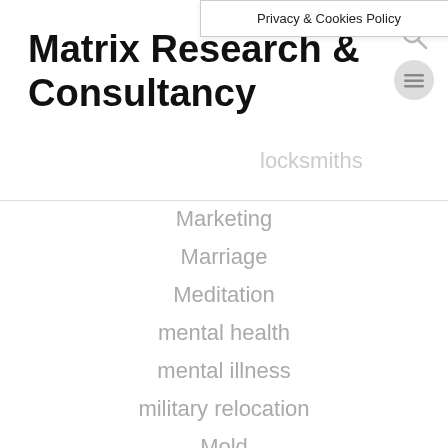Privacy & Cookies Policy
Matrix Research & Consultancy
locksmiths
Marketing
Marriage
Meditation
mental health
mental illness
military relocation
Mold
Mold Remediation
Mold Removal
Motorhome
motorhome travel
movers